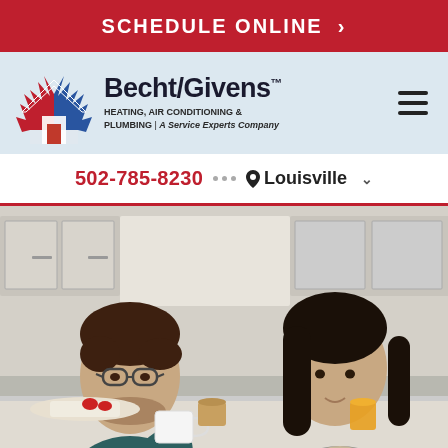SCHEDULE ONLINE >
[Figure (logo): Becht/Givens logo with flame and snowflake house icon]
Becht/Givens™ HEATING, AIR CONDITIONING & PLUMBING | A Service Experts Company
502-785-8230 ··· Louisville
[Figure (photo): A man and a woman sitting at a kitchen counter, the man drinking from a white mug, the woman talking to him, with breakfast items on the counter]